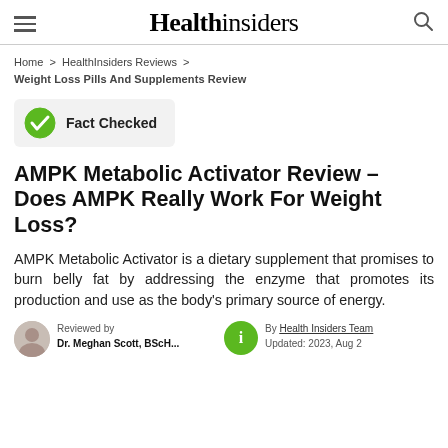Health insiders
Home > HealthInsiders Reviews > Weight Loss Pills And Supplements Review
[Figure (infographic): Fact Checked badge with green checkmark icon]
AMPK Metabolic Activator Review – Does AMPK Really Work For Weight Loss?
AMPK Metabolic Activator is a dietary supplement that promises to burn belly fat by addressing the enzyme that promotes its production and use as the body's primary source of energy.
Reviewed by Dr. Meghan Scott, BScH... | By Health Insiders Team Updated: 2023, Aug 2